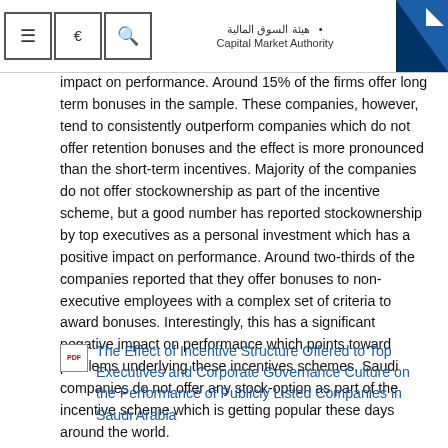Capital Market Authority (هيئة السوق المالية)
impact on performance. Around 15% of the firms offer long term bonuses in the sample. These companies, however, tend to consistently outperform companies which do not offer retention bonuses and the effect is more pronounced than the short-term incentives. Majority of the companies do not offer stockownership as part of the incentive scheme, but a good number has reported stockownership by top executives as a personal investment which has a positive impact on performance. Around two-thirds of the companies reported that they offer bonuses to non-executive employees with a complex set of criteria to award bonuses. Interestingly, this has a significant negative impact on performance which points toward problems underlying these incentives schemes, Saudi companies do not offer any stock-option as part of the incentive scheme which is getting popular these days around the world.
The Effect of Incentive Structure Offered to Top Executives and Corporate Governance Culture on the Performance of Publicly Listed Companies in Saudi Arabia